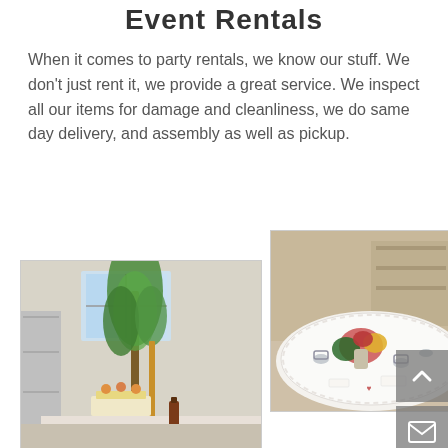Event Rentals
When it comes to party rentals, we know our stuff. We don’t just rent it, we provide a great service. We inspect all our items for damage and cleanliness, we do same day delivery, and assembly as well as pickup.
[Figure (photo): Photo of an indoor event setup with tall floral arrangements, gold stands, and a catered food display on a white counter]
[Figure (photo): Photo of a white round table with floral centerpiece, glassware, and place settings in a warmly lit room]